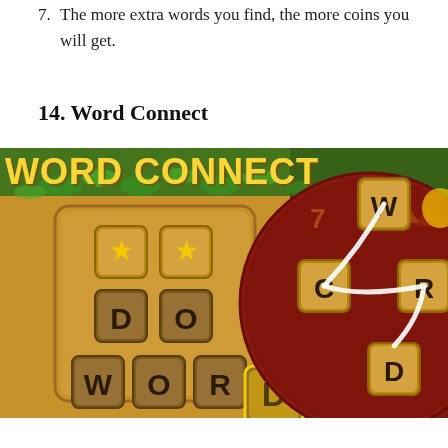7. The more extra words you find, the more coins you will get.
14. Word Connect
[Figure (screenshot): Screenshot of the Word Connect mobile game showing a wooden tile board with stars, letter tiles spelling WORD and D, and a circular wheel on the right side with letter tiles W, C, R, D connected by a white line, over a dark red background. The game logo 'Word Connect' appears at the top in gold letters with green vines.]